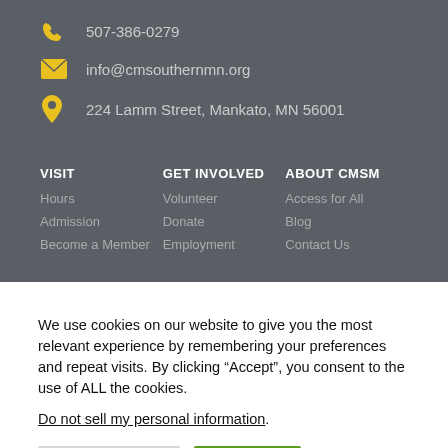507-386-0279
info@cmsouthernmn.org
224 Lamm Street, Mankato, MN 56001
VISIT
Hours
Admission
Become a Member
GET INVOLVED
Volunteer
Donate
Employment
ABOUT CMSM
Access for All
Blog
Contact Us
We use cookies on our website to give you the most relevant experience by remembering your preferences and repeat visits. By clicking “Accept”, you consent to the use of ALL the cookies.
Do not sell my personal information.
Cookie Settings
Accept